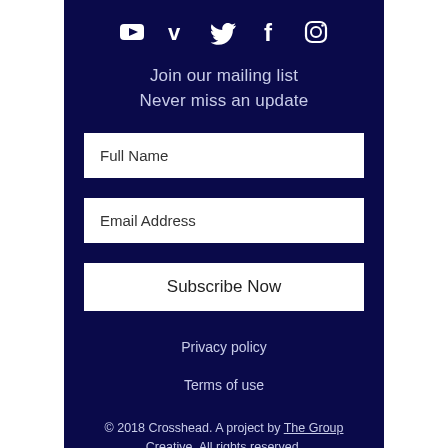[Figure (other): Row of 5 social media icons: YouTube, Vimeo, Twitter, Facebook, Instagram — all white on dark navy background]
Join our mailing list
Never miss an update
Full Name
Email Address
Subscribe Now
Privacy policy
Terms of use
© 2018 Crosshead. A project by The Group Creative. All rights reserved.